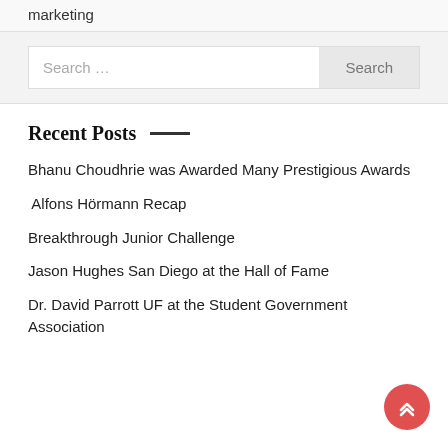marketing
Search ...
Recent Posts
Bhanu Choudhrie was Awarded Many Prestigious Awards
Alfons Hörmann Recap
Breakthrough Junior Challenge
Jason Hughes San Diego at the Hall of Fame
Dr. David Parrott UF at the Student Government Association